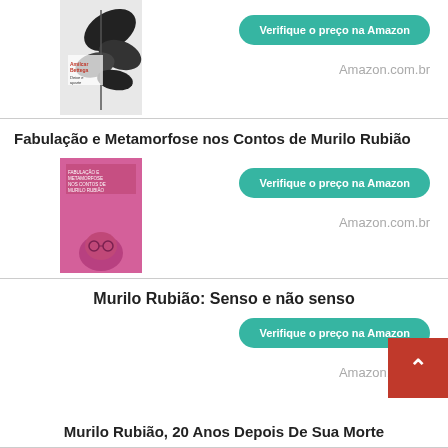[Figure (illustration): Book cover with black and white illustration of leaves/plants, with author name Amilcar Bettega and colored text]
Verifique o preço na Amazon
Amazon.com.br
Fabulação e Metamorfose nos Contos de Murilo Rubião
[Figure (illustration): Book cover in pink/magenta color with a man's face wearing glasses at the bottom and text at top]
Verifique o preço na Amazon
Amazon.com.br
Murilo Rubião: Senso e não senso
Verifique o preço na Amazon
Amazon.com.br
Murilo Rubião, 20 Anos Depois De Sua Morte